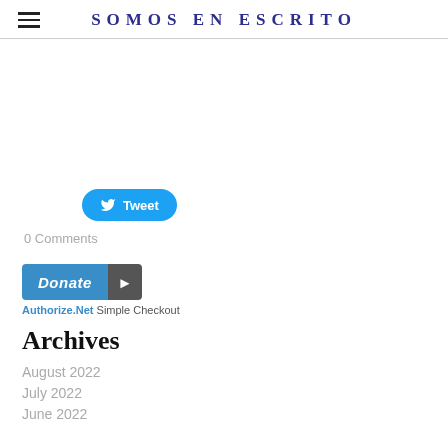SOMOS EN ESCRITO
[Figure (screenshot): Twitter Tweet button with bird icon]
0 Comments
[Figure (screenshot): Donate button with Authorize.Net Simple Checkout text]
Archives
August 2022
July 2022
June 2022